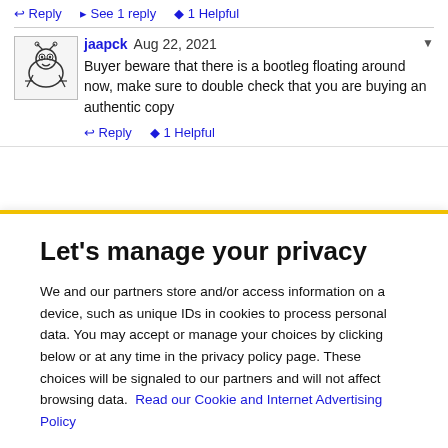[Figure (illustration): Avatar of user jaapck, a cartoon frog/bug character sketch]
jaapck Aug 22, 2021
Buyer beware that there is a bootleg floating around now, make sure to double check that you are buying an authentic copy
Reply   1 Helpful
Let's manage your privacy
We and our partners store and/or access information on a device, such as unique IDs in cookies to process personal data. You may accept or manage your choices by clicking below or at any time in the privacy policy page. These choices will be signaled to our partners and will not affect browsing data. Read our Cookie and Internet Advertising Policy
Cookies Settings   Accept All Cookies